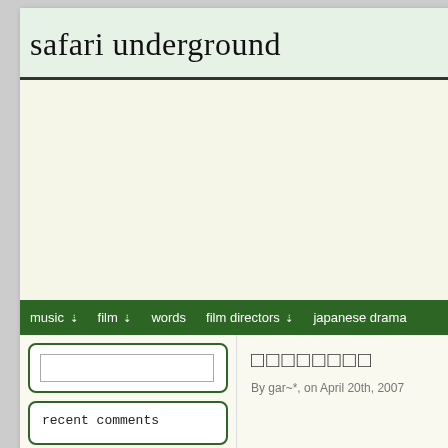safari underground
music  film  words  film directors  japanese drama
[Figure (screenshot): Search box widget with text input and magnifying glass icon, bordered in green]
recent comments
□□□□□□□□
By gar~*, on April 20th, 2007